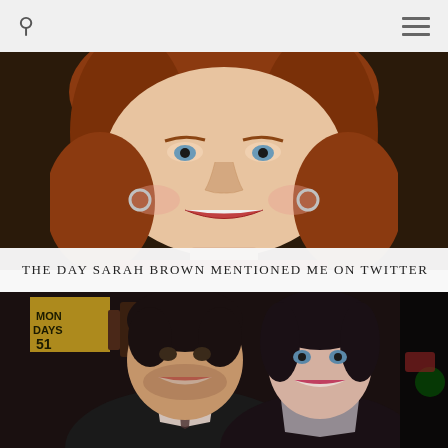[Figure (photo): Close-up portrait photo of a smiling woman with red/auburn hair and hoop earrings, wearing a red blazer, photographed against a dark background]
THE DAY SARAH BROWN MENTIONED ME ON TWITTER
[Figure (photo): Photo of a man and woman posing together at a social event. The man has dark hair and stubble and is smiling broadly; the woman has dark hair and blue eyes. A sign reading 'MONDAYS 51' is visible in the background.]